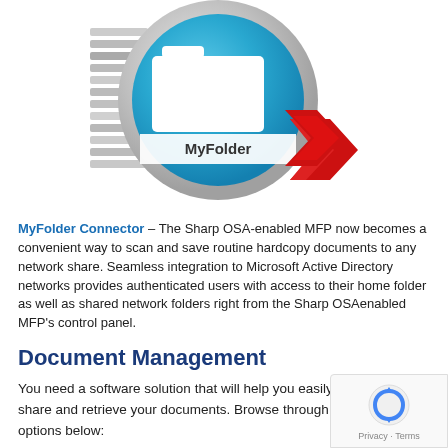[Figure (illustration): A circular blue icon with a white folder graphic and a white/silver banner reading 'MyFolder', with a red chevron/arrow pointing right, on a metallic silver circular background with a stacked pages effect on the left side.]
MyFolder Connector – The Sharp OSA-enabled MFP now becomes a convenient way to scan and save routine hardcopy documents to any network share. Seamless integration to Microsoft Active Directory networks provides authenticated users with access to their home folder as well as shared network folders right from the Sharp OSAenabled MFP's control panel.
Document Management
You need a software solution that will help you easily capture, store, share and retrieve your documents. Browse through our software options below: